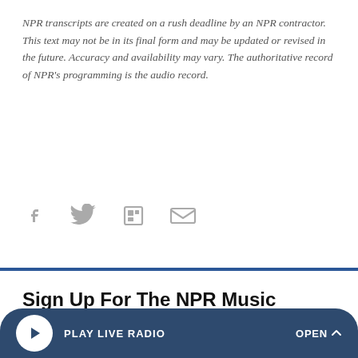NPR transcripts are created on a rush deadline by an NPR contractor. This text may not be in its final form and may be updated or revised in the future. Accuracy and availability may vary. The authoritative record of NPR's programming is the audio record.
[Figure (infographic): Social share icons: Facebook, Twitter, Flipboard, Email]
Sign Up For The NPR Music Newsletter
Listen to new music, watch the latest Tiny Desk concerts and more, sent weekly.
What's your email?
PLAY LIVE RADIO   OPEN